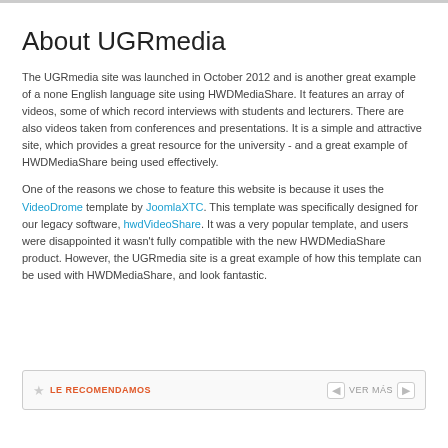About UGRmedia
The UGRmedia site was launched in October 2012 and is another great example of a none English language site using HWDMediaShare. It features an array of videos, some of which record interviews with students and lecturers. There are also videos taken from conferences and presentations. It is a simple and attractive site, which provides a great resource for the university - and a great example of HWDMediaShare being used effectively.
One of the reasons we chose to feature this website is because it uses the VideoDrome template by JoomlaXTC. This template was specifically designed for our legacy software, hwdVideoShare. It was a very popular template, and users were disappointed it wasn't fully compatible with the new HWDMediaShare product. However, the UGRmedia site is a great example of how this template can be used with HWDMediaShare, and look fantastic.
LE RECOMENDAMOS  VER MÁS